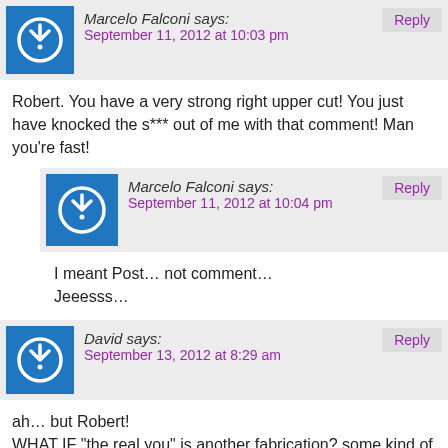Marcelo Falconi says: September 11, 2012 at 10:03 pm
Robert. You have a very strong right upper cut! You just have knocked the s*** out of me with that comment! Man you’re fast!
Marcelo Falconi says: September 11, 2012 at 10:04 pm
I meant Post… not comment… Jeeesss…
David says: September 13, 2012 at 8:29 am
ah… but Robert!
WHAT IF “the real you” is another fabrication? some kind of expression from another level… but even that seemingly-ultimate level is also “derivative”?